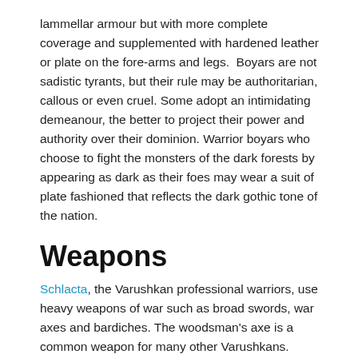lammellar armour but with more complete coverage and supplemented with hardened leather or plate on the fore-arms and legs. Boyars are not sadistic tyrants, but their rule may be authoritarian, callous or even cruel. Some adopt an intimidating demeanour, the better to project their power and authority over their dominion. Warrior boyars who choose to fight the monsters of the dark forests by appearing as dark as their foes may wear a suit of plate fashioned that reflects the dark gothic tone of the nation.
Weapons
Schlacta, the Varushkan professional warriors, use heavy weapons of war such as broad swords, war axes and bardiches. The woodsman's axe is a common weapon for many other Varushkans.
Shops